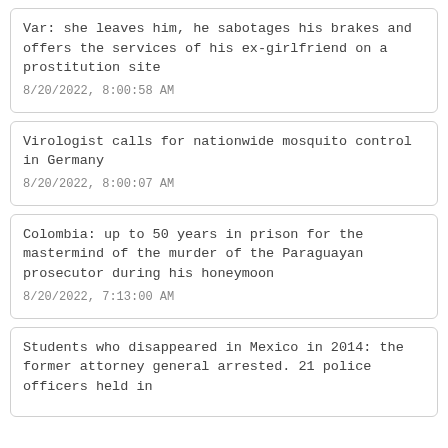Var: she leaves him, he sabotages his brakes and offers the services of his ex-girlfriend on a prostitution site
8/20/2022, 8:00:58 AM
Virologist calls for nationwide mosquito control in Germany
8/20/2022, 8:00:07 AM
Colombia: up to 50 years in prison for the mastermind of the murder of the Paraguayan prosecutor during his honeymoon
8/20/2022, 7:13:00 AM
Students who disappeared in Mexico in 2014: the former attorney general arrested. 21 police officers held in...